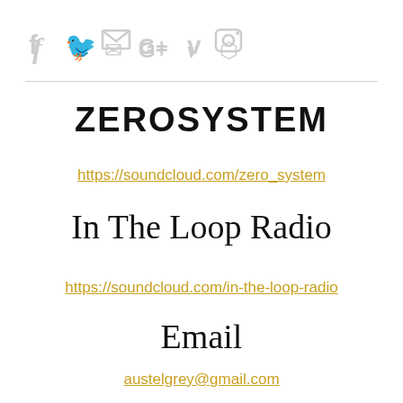[Figure (other): Social media icons: Facebook (f), Twitter (bird), Email (envelope), Google+ (G+), Vimeo (v), Instagram (camera) displayed in light gray]
ZEROSYSTEM
https://soundcloud.com/zero_system
In The Loop Radio
https://soundcloud.com/in-the-loop-radio
Email
austelgrey@gmail.com